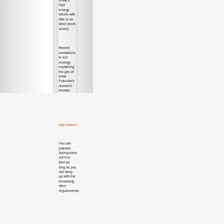today's high energy efforts with little to no labor (work smart).
Recent revelations in soil ecology explaining the gist of what Fukuoka's research reveals:
http://www.energ
You can practice hydroponics out in a field as long as you can keep up with the increasing labor requirements.